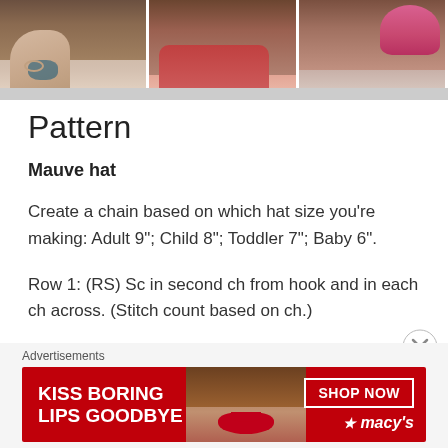[Figure (photo): Three photo panels showing women: left panel shows arm with tattoo and bracelet, middle panel shows woman in pink/red top with curly hair, right panel shows woman wearing a pink knit hat]
Pattern
Mauve hat
Create a chain based on which hat size you're making: Adult 9"; Child 8"; Toddler 7"; Baby 6".
Row 1: (RS) Sc in second ch from hook and in each ch across. (Stitch count based on ch.)
Row 2: Ch 2, turn, hdc in each st across.
Advertisements
[Figure (photo): Macy's advertisement banner: red background with text 'KISS BORING LIPS GOODBYE', photo of woman's face with red lips, 'SHOP NOW' button and Macy's star logo]